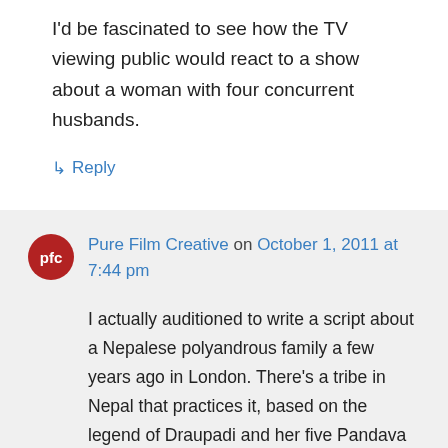I'd be fascinated to see how the TV viewing public would react to a show about a woman with four concurrent husbands.
↳ Reply
Pure Film Creative on October 1, 2011 at 7:44 pm
I actually auditioned to write a script about a Nepalese polyandrous family a few years ago in London. There's a tribe in Nepal that practices it, based on the legend of Draupadi and her five Pandava husbands from the Mahabharata. Thankfully, I didn't get the job.